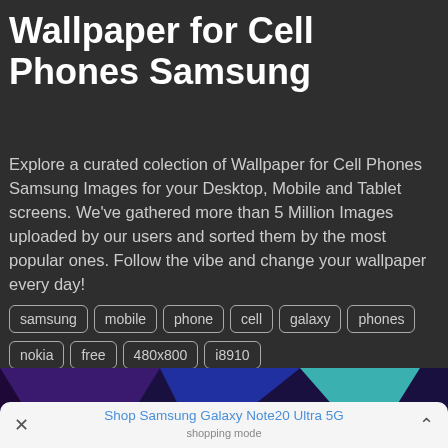Wallpaper for Cell Phones Samsung
Explore a curated colection of Wallpaper for Cell Phones Samsung Images for your Desktop, Mobile and Tablet screens. We've gathered more than 5 Million Images uploaded by our users and sorted them by the most popular ones. Follow the vibe and change your wallpaper every day!
samsung
mobile
phone
cell
galaxy
phones
nokia
free
480x800
i8910
[Figure (illustration): Abstract low-poly geometric wallpaper with triangular facets in blues, purples, teals, and magentas]
Shop Samsung Galaxy Note20 Ultra 5G